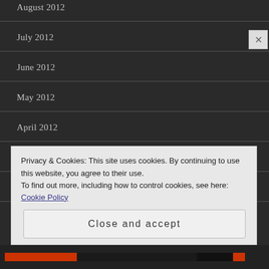August 2012
July 2012
June 2012
May 2012
April 2012
March 2012
February 2012
January 2012
Privacy & Cookies: This site uses cookies. By continuing to use this website, you agree to their use.
To find out more, including how to control cookies, see here: Cookie Policy
Close and accept